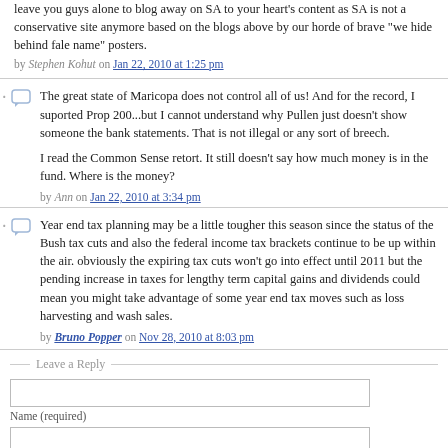leave you guys alone to blog away on SA to your heart's content as SA is not a conservative site anymore based on the blogs above by our horde of brave "we hide behind fale name" posters.
by Stephen Kohut on Jan 22, 2010 at 1:25 pm
The great state of Maricopa does not control all of us! And for the record, I suported Prop 200...but I cannot understand why Pullen just doesn't show someone the bank statements. That is not illegal or any sort of breech.

I read the Common Sense retort. It still doesn't say how much money is in the fund. Where is the money?
by Ann on Jan 22, 2010 at 3:34 pm
Year end tax planning may be a little tougher this season since the status of the Bush tax cuts and also the federal income tax brackets continue to be up within the air. obviously the expiring tax cuts won't go into effect until 2011 but the pending increase in taxes for lengthy term capital gains and dividends could mean you might take advantage of some year end tax moves such as loss harvesting and wash sales.
by Bruno Popper on Nov 28, 2010 at 8:03 pm
Leave a Reply
Name (required)